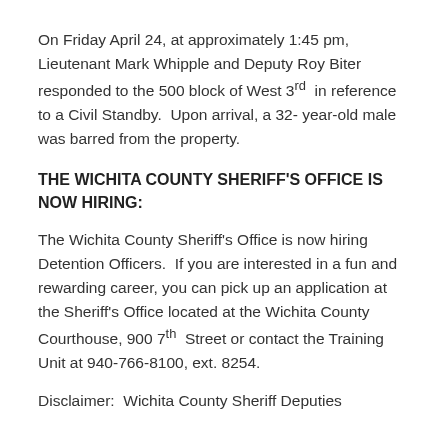On Friday April 24, at approximately 1:45 pm, Lieutenant Mark Whipple and Deputy Roy Biter responded to the 500 block of West 3rd in reference to a Civil Standby.  Upon arrival, a 32-year-old male was barred from the property.
THE WICHITA COUNTY SHERIFF'S OFFICE IS NOW HIRING:
The Wichita County Sheriff's Office is now hiring Detention Officers.  If you are interested in a fun and rewarding career, you can pick up an application at the Sheriff's Office located at the Wichita County Courthouse, 900 7th Street or contact the Training Unit at 940-766-8100, ext. 8254.
Disclaimer:  Wichita County Sheriff Deputies